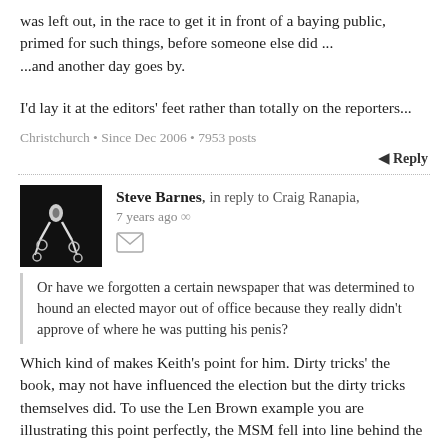was left out, in the race to get it in front of a baying public, primed for such things, before someone else did ...
...and another day goes by.
I'd lay it at the editors' feet rather than totally on the reporters...
Christchurch • Since Dec 2006 • 7953 posts
Reply
Steve Barnes, in reply to Craig Ranapia, 7 years ago
Or have we forgotten a certain newspaper that was determined to hound an elected mayor out of office because they really didn't approve of where he was putting his penis?
Which kind of makes Keith's point for him. Dirty tricks' the book, may not have influenced the election but the dirty tricks themselves did. To use the Len Brown example you are illustrating this point perfectly, the MSM fell into line behind the